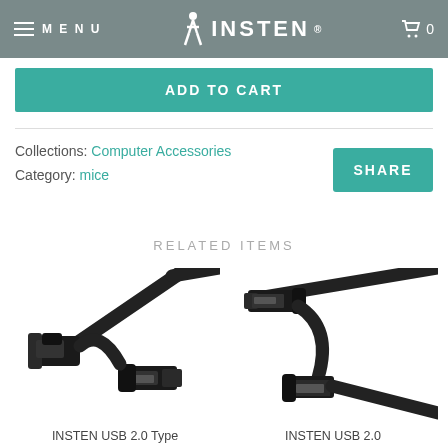MENU | INSTEN | 0
ADD TO CART
Collections: Computer Accessories
Category: mice
SHARE
RELATED ITEMS
[Figure (photo): INSTEN USB 2.0 Type A cable with male and female connectors, black]
INSTEN USB 2.0 Type
[Figure (photo): INSTEN USB 2.0 cable with two male connectors, black]
INSTEN USB 2.0